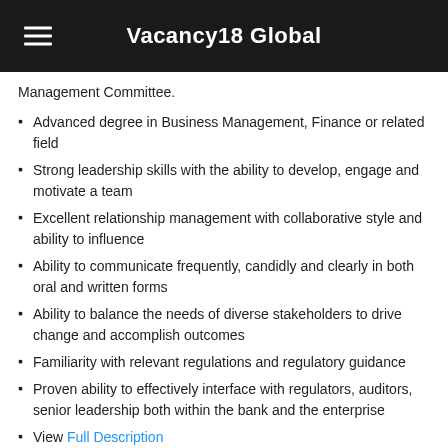Vacancy18 Global
Management Committee.
Advanced degree in Business Management, Finance or related field
Strong leadership skills with the ability to develop, engage and motivate a team
Excellent relationship management with collaborative style and ability to influence
Ability to communicate frequently, candidly and clearly in both oral and written forms
Ability to balance the needs of diverse stakeholders to drive change and accomplish outcomes
Familiarity with relevant regulations and regulatory guidance
Proven ability to effectively interface with regulators, auditors, senior leadership both within the bank and the enterprise
View Full Description